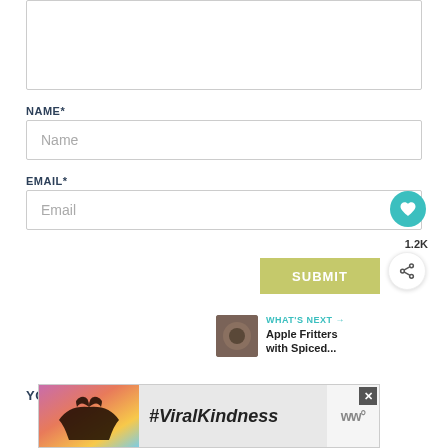[Figure (screenshot): Empty textarea input box with border]
NAME*
[Figure (screenshot): Name input field with placeholder text 'Name']
EMAIL*
[Figure (screenshot): Email input field with placeholder 'Email', teal heart button, share button with 1.2K count, and olive/yellow SUBMIT button]
WHAT'S NEXT → Apple Fritters with Spiced...
YOU MIGHT ALSO LIKE
[Figure (screenshot): Ad banner with heart silhouette image, #ViralKindness text, and Walmart logo]